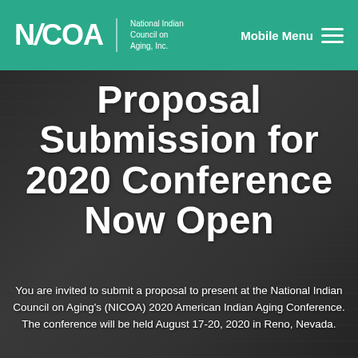NICOA | National Indian Council on Aging, Inc. | Mobile Menu
[Figure (photo): Background photo of a woman speaking at a conference podium with 'One Albuquerque Senior Games' banners visible behind her. Image is darkened with overlay.]
Proposal Submission for 2020 Conference Now Open
You are invited to submit a proposal to present at the National Indian Council on Aging's (NICOA) 2020 American Indian Aging Conference. The conference will be held August 17-20, 2020 in Reno, Nevada.